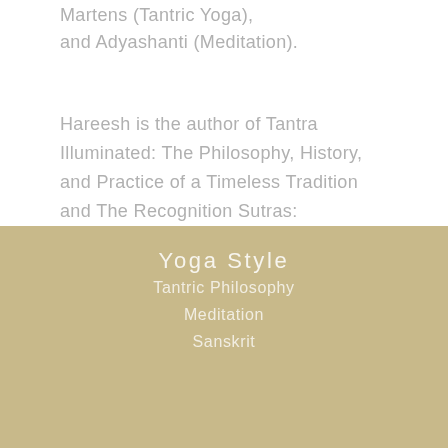Martens (Tantric Yoga), and Adyashanti (Meditation).
Hareesh is the author of Tantra Illuminated: The Philosophy, History, and Practice of a Timeless Tradition and The Recognition Sutras: Illuminating a 1,000-year-old Spiritual Masterpiece.
Yoga Style
Tantric Philosophy
Meditation
Sanskrit